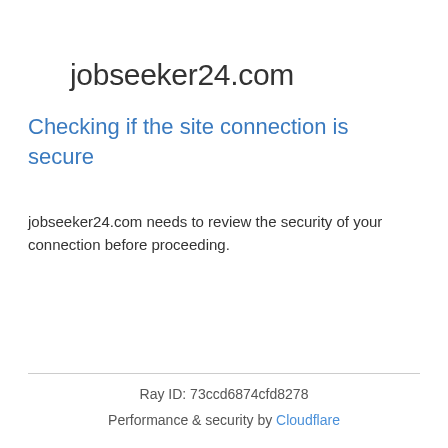jobseeker24.com
Checking if the site connection is secure
jobseeker24.com needs to review the security of your connection before proceeding.
Ray ID: 73ccd6874cfd8278
Performance & security by Cloudflare